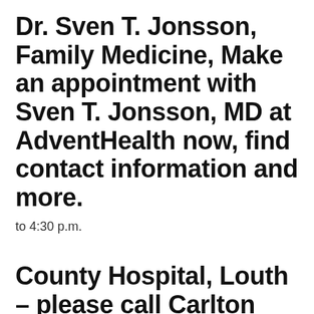Dr. Sven T. Jonsson, Family Medicine, Make an appointment with Sven T. Jonsson, MD at AdventHealth now, find contact information and more.
to 4:30 p.m.
County Hospital, Louth – please call Carlton Ward on 01507 600 100 ext 1345 or 1311 John